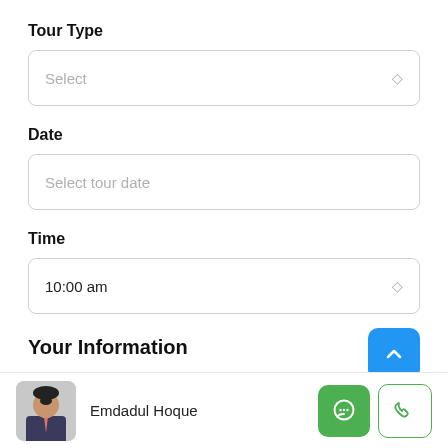Tour Type
Select
Date
Select tour date
Time
10:00 am
Your Information
N
Emdadul Hoque